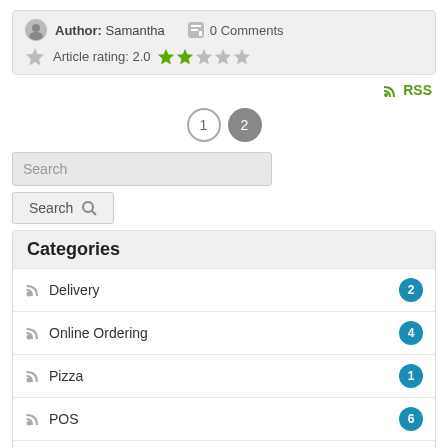Author: Samantha   0 Comments   Article rating: 2.0 ★★☆☆☆
RSS
1  2
Search
Categories
Delivery 2
Online Ordering 4
Pizza 1
POS 6
Press Releases 5
Restaurants 7